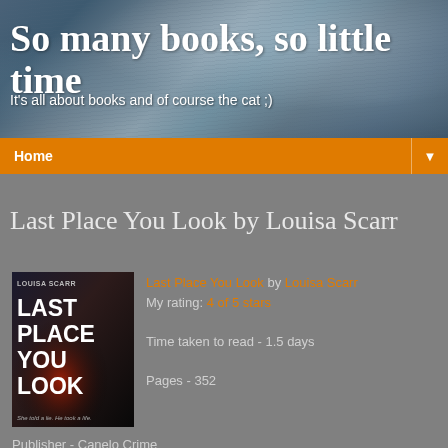So many books, so little time
It's all about books and of course the cat ;)
Home ▼
Thursday, 23 December 2021
Last Place You Look by Louisa Scarr
[Figure (photo): Book cover of 'Last Place You Look' by Louisa Scarr. Dark cover with bold white uppercase title text and author name.]
Last Place You Look by Louisa Scarr
My rating: 4 of 5 stars

Time taken to read - 1.5 days

Pages - 352
Publisher - Canelo Crime